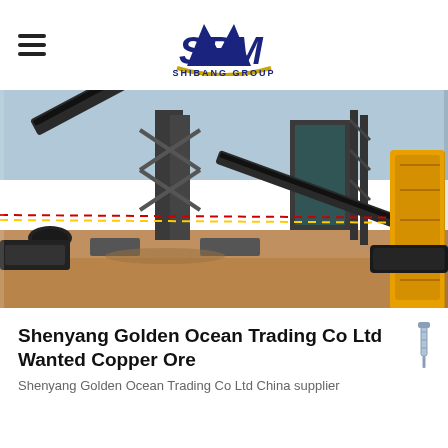SBM SHIBANG GROUP
[Figure (photo): Industrial mining/crushing equipment on a dry sandy site — conveyor belts, large machinery frames, and a yellow excavator arm visible on the right]
Shenyang Golden Ocean Trading Co Ltd Wanted Copper Ore
Shenyang Golden Ocean Trading Co Ltd China supplier